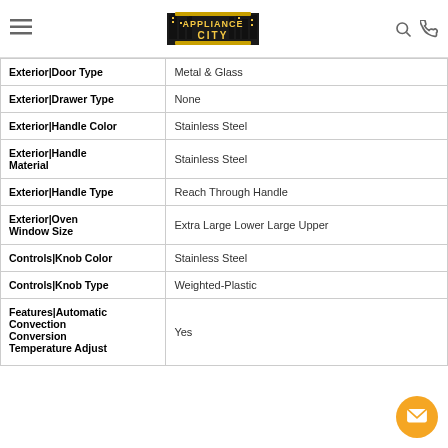Appliance City
| Feature | Value |
| --- | --- |
| Exterior|Door Type | Metal & Glass |
| Exterior|Drawer Type | None |
| Exterior|Handle Color | Stainless Steel |
| Exterior|Handle Material | Stainless Steel |
| Exterior|Handle Type | Reach Through Handle |
| Exterior|Oven Window Size | Extra Large Lower Large Upper |
| Controls|Knob Color | Stainless Steel |
| Controls|Knob Type | Weighted-Plastic |
| Features|Automatic Convection Conversion Temperature Adjust | Yes |